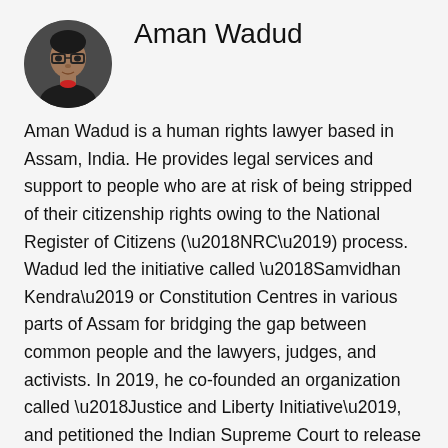[Figure (photo): Circular portrait photo of Aman Wadud, a man wearing glasses and a dark jacket]
Aman Wadud
Aman Wadud is a human rights lawyer based in Assam, India. He provides legal services and support to people who are at risk of being stripped of their citizenship rights owing to the National Register of Citizens (‘NRC’) process. Wadud led the initiative called ‘Samvidhan Kendra’ or Constitution Centres in various parts of Assam for bridging the gap between common people and the lawyers, judges, and activists. In 2019, he co-founded an organization called ‘Justice and Liberty Initiative’, and petitioned the Indian Supreme Court to release more than 350 detainees from detention centers. Recently, he received the Fulbright-Nehru